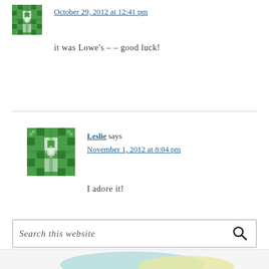[Figure (illustration): Green pixel pattern avatar icon (partial, top of page)]
October 29, 2012 at 12:41 pm
it was Lowe's – – good luck!
[Figure (illustration): Green pixel pattern avatar icon for Leslie]
Leslie says
November 1, 2012 at 8:04 pm
I adore it!
Search this website